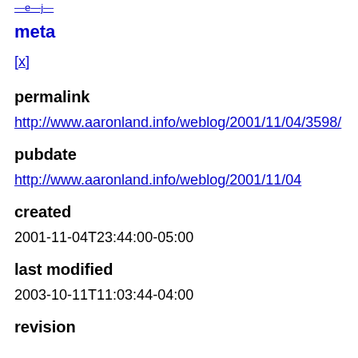—e—j—
meta
[x]
permalink
http://www.aaronland.info/weblog/2001/11/04/3598/
pubdate
http://www.aaronland.info/weblog/2001/11/04
created
2001-11-04T23:44:00-05:00
last modified
2003-10-11T11:03:44-04:00
revision